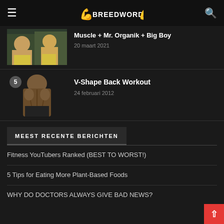BREEDWORDEN
[Figure (photo): Partial article thumbnail showing muscular figures outdoors]
Muscle + Mr. Organik + Big Boy
20 maart 2021
[Figure (photo): Article thumbnail showing muscular back of person, number 5 badge]
V-Shape Back Workout
24 februari 2012
MEEST RECENTE BERICHTEN
Fitness YouTubers Ranked (BEST TO WORST!)
5 Tips for Eating More Plant-Based Foods
WHY DO DOCTORS ALWAYS GIVE BAD NEWS?